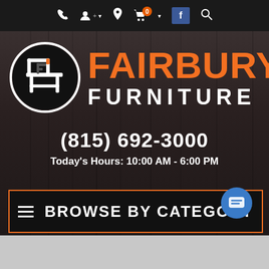[Figure (screenshot): Navigation bar with phone icon, profile icon with dropdown, location pin icon, shopping cart with badge showing 0, dropdown arrow, Facebook button, and search icon on dark background]
[Figure (logo): Fairbury Furniture logo consisting of a circular emblem with stylized F and chair icon in white and orange on black, and the text FAIRBURY in large orange bold letters above FURNITURE in white bold letters, all on a dark wood-textured background]
(815) 692-3000
Today's Hours: 10:00 AM - 6:00 PM
BROWSE BY CATEGORY
[Figure (illustration): Blue circular chat support button with message lines icon]